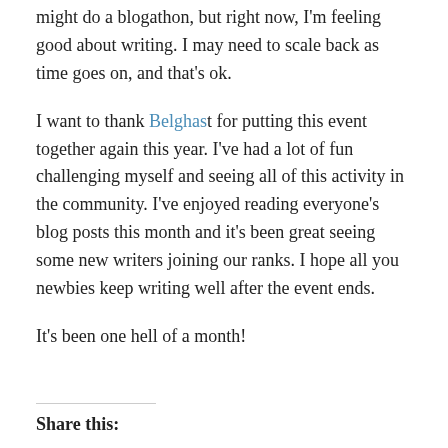might do a blogathon, but right now, I'm feeling good about writing. I may need to scale back as time goes on, and that's ok.
I want to thank Belghast for putting this event together again this year. I've had a lot of fun challenging myself and seeing all of this activity in the community. I've enjoyed reading everyone's blog posts this month and it's been great seeing some new writers joining our ranks. I hope all you newbies keep writing well after the event ends.
It's been one hell of a month!
Share this: